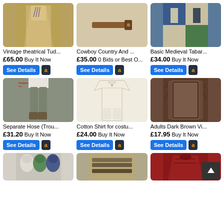[Figure (screenshot): E-commerce grid of medieval/costume clothing items with prices and buttons]
Vintage theatrical Tud...
£65.00 Buy It Now
Cowboy Country And ...
£35.00 0 Bids or Best O...
Basic Medieval Tabar...
£34.00 Buy It Now
Separate Hose (Trou...
£31.20 Buy It Now
Cotton Shirt for costu...
£24.00 Buy It Now
Adults Dark Brown Vi...
£17.95 Buy It Now